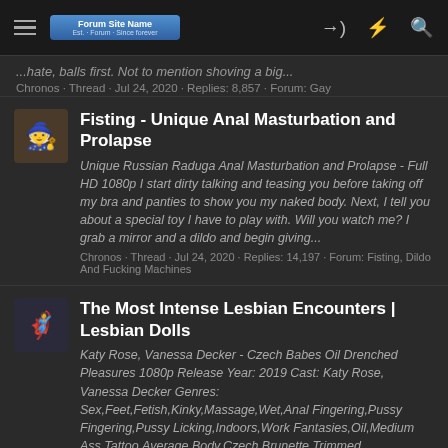Forum website header with hamburger menu, logo, login icon, lightning icon, search icon
...hate, balls first. Not to mention shoving a big...
Chronos · Thread · Jul 24, 2020 · Replies: 8,857 · Forum: Gay
Fisting - Unique Anal Masturbation and Prolapse
Unique Russian Raduga Anal Masturbation and Prolapse - Full HD 1080p I start dirty talking and teasing you before taking off my bra and panties to show you my naked body. Next, I tell you about a special toy I have to play with. Will you watch me? I grab a mirror and a dildo and begin giving...
Chronos · Thread · Jul 24, 2020 · Replies: 14,197 · Forum: Fisting, Dildo And Fucking Machines
The Most Intense Lesbian Encounters | Lesbian Dolls
Katy Rose, Vanessa Decker - Czech Babes Oil Drenched Pleasures 1080p Release Year: 2019 Cast: Katy Rose, Vanessa Decker Genres: Sex,Feet,Fetish,Kinky,Massage,Wet,Anal Fingering,Pussy Fingering,Pussy Licking,Indoors,Work Fantasies,Oil,Medium Ass,Tattoo,Average Body,Czech,Brunette,Trimmed...
· Thread · Jul 24, 2020 · Replies: 14,1...